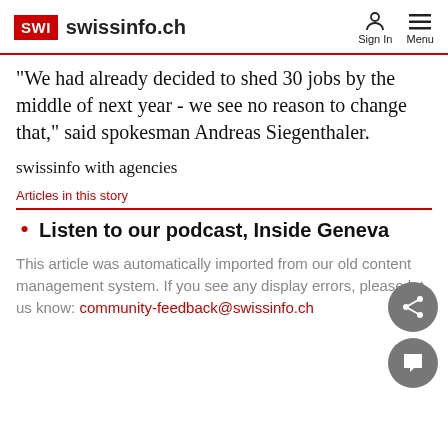SWI swissinfo.ch
"We had already decided to shed 30 jobs by the middle of next year - we see no reason to change that," said spokesman Andreas Siegenthaler.
swissinfo with agencies
Articles in this story
Listen to our podcast, Inside Geneva
This article was automatically imported from our old content management system. If you see any display errors, please let us know: community-feedback@swissinfo.ch